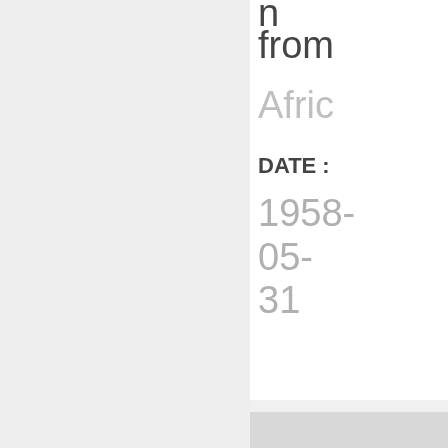n
from
Afric
DATE : 1958-05-31
[Figure (illustration): A padlock icon indicating restricted/locked content, displayed on a light gray background]
Against